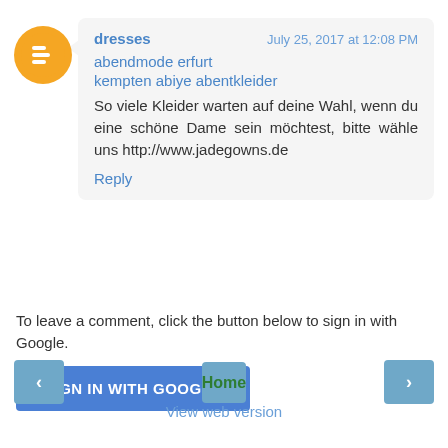[Figure (other): Blogger orange avatar icon with equals sign]
dresses — July 25, 2017 at 12:08 PM
abendmode erfurt
kempten abiye abentkleider
So viele Kleider warten auf deine Wahl, wenn du eine schöne Dame sein möchtest, bitte wähle uns http://www.jadegowns.de
Reply
To leave a comment, click the button below to sign in with Google.
SIGN IN WITH GOOGLE
‹
Home
›
View web version